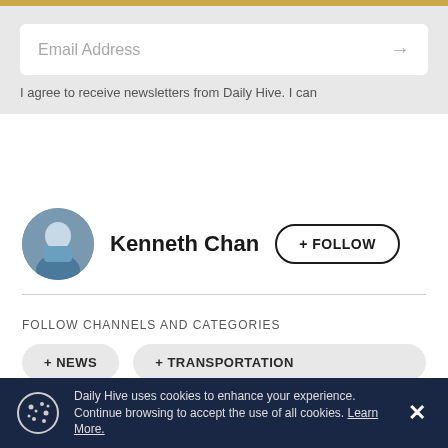Email Address
I agree to receive newsletters from Daily Hive. I can
Kenneth Chan
+ FOLLOW
FOLLOW CHANNELS AND CATEGORIES
+ NEWS
+ TRANSPORTATION
+ URBANIZED
+ CORONAVIRUS
Daily Hive uses cookies to enhance your experience. Continue browsing to accept the use of all cookies. Learn More.